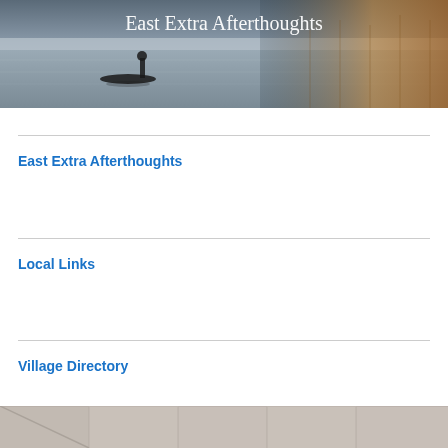[Figure (photo): Header image showing a misty lake scene with a silhouette of a person in a small boat, with foggy water and warm-toned reeds in the background. Text 'East Extra Afterthoughts' overlaid in white serif font at the top.]
East Extra Afterthoughts
Local Links
Village Directory
[Figure (photo): Bottom partial image showing a tiled or paneled surface in muted beige/grey tones.]